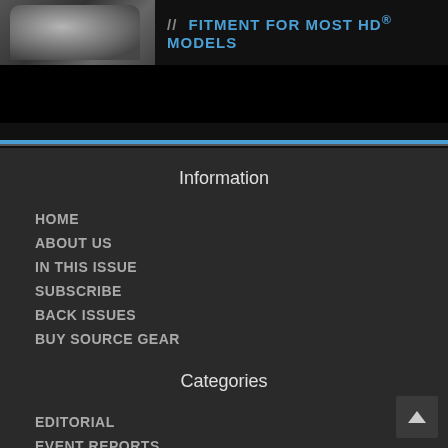[Figure (photo): Top banner showing a motorcycle engine chrome detail on the left, and bold blue text 'FITMENT FOR MOST HD® MODELS' on the right against a dark background. Below is a black bar and a blue horizontal rule.]
Information
HOME
ABOUT US
IN THIS ISSUE
SUBSCRIBE
BACK ISSUES
BUY SOURCE GEAR
Categories
EDITORIAL
EVENT REPORTS
IN THE MAGAZINE
INDUSTRY NEWS